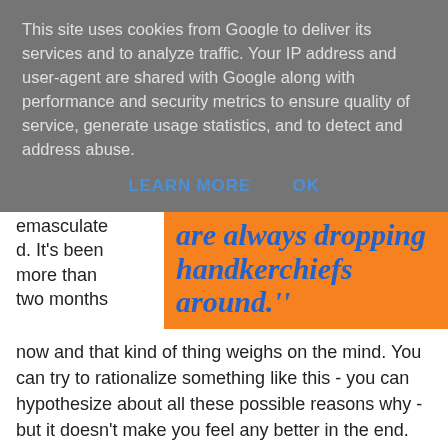This site uses cookies from Google to deliver its services and to analyze traffic. Your IP address and user-agent are shared with Google along with performance and security metrics to ensure quality of service, generate usage statistics, and to detect and address abuse.
LEARN MORE   OK
emasculated. It's been more than two months
[Figure (other): Orange pull quote box with blue bold italic text reading: 'are always dropping handkerchiefs around.']
now and that kind of thing weighs on the mind. You can try to rationalize something like this - you can hypothesize about all these possible reasons why - but it doesn't make you feel any better in the end. Especially when you haven't come up with a really good reason. Just because it's the Age of Reason doesn't mean that all of a sudden we don't have emotions.
I have emotions - believe me. I feel embarrassment and